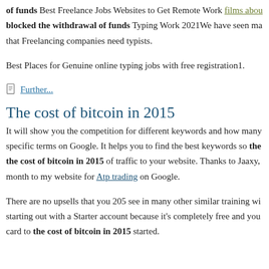of funds Best Freelance Jobs Websites to Get Remote Work films abou blocked the withdrawal of funds Typing Work 2021We have seen ma that Freelancing companies need typists.
Best Places for Genuine online typing jobs with free registration1.
Further...
The cost of bitcoin in 2015
It will show you the competition for different keywords and how many specific terms on Google. It helps you to find the best keywords so the the cost of bitcoin in 2015 of traffic to your website. Thanks to Jaaxy, month to my website for Atp trading on Google.
There are no upsells that you 205 see in many other similar training wi starting out with a Starter account because it's completely free and you card to the cost of bitcoin in 2015 started.